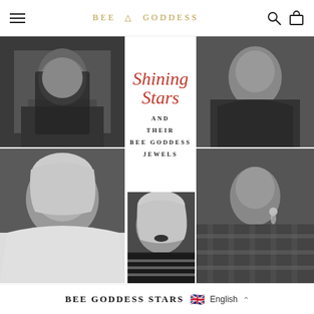BEE GODDESS
[Figure (photo): Black and white photo collage of five female celebrities wearing Bee Goddess jewelry, arranged in a grid layout with text overlay in center]
Shining Stars AND THEIR BEE GODDESS JEWELS
BEE GODDESS STARS  English